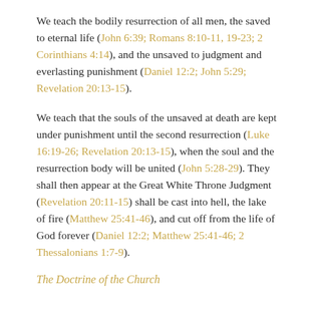We teach the bodily resurrection of all men, the saved to eternal life (John 6:39; Romans 8:10-11, 19-23; 2 Corinthians 4:14), and the unsaved to judgment and everlasting punishment (Daniel 12:2; John 5:29; Revelation 20:13-15).
We teach that the souls of the unsaved at death are kept under punishment until the second resurrection (Luke 16:19-26; Revelation 20:13-15), when the soul and the resurrection body will be united (John 5:28-29). They shall then appear at the Great White Throne Judgment (Revelation 20:11-15) shall be cast into hell, the lake of fire (Matthew 25:41-46), and cut off from the life of God forever (Daniel 12:2; Matthew 25:41-46; 2 Thessalonians 1:7-9).
The Doctrine of the Church